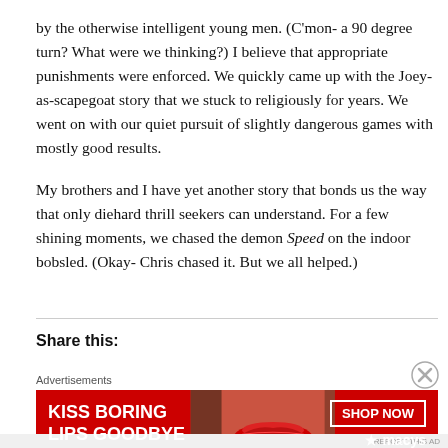by the otherwise intelligent young men. (C'mon- a 90 degree turn? What were we thinking?) I believe that appropriate punishments were enforced. We quickly came up with the Joey-as-scapegoat story that we stuck to religiously for years. We went on with our quiet pursuit of slightly dangerous games with mostly good results.
My brothers and I have yet another story that bonds us the way that only diehard thrill seekers can understand. For a few shining moments, we chased the demon Speed on the indoor bobsled. (Okay- Chris chased it. But we all helped.)
Share this:
[Figure (infographic): Advertisement banner for Macy's with red background. Text reads 'KISS BORING LIPS GOODBYE' with a woman's face and lips. Right side has 'SHOP NOW' button and Macy's star logo.]